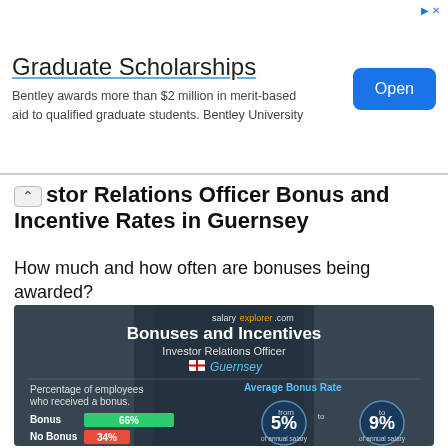[Figure (infographic): Ad banner for Graduate Scholarships at Bentley University with Open button]
stor Relations Officer Bonus and Incentive Rates in Guernsey
How much and how often are bonuses being awarded?
[Figure (infographic): Infographic showing Bonuses and Incentives for Investor Relations Officer in Guernsey. Percentage of employees who received a bonus: Bonus 66% (green bar), No Bonus 34% (red bar). Average Bonus Rate from 5% to 9% of annual salary.]